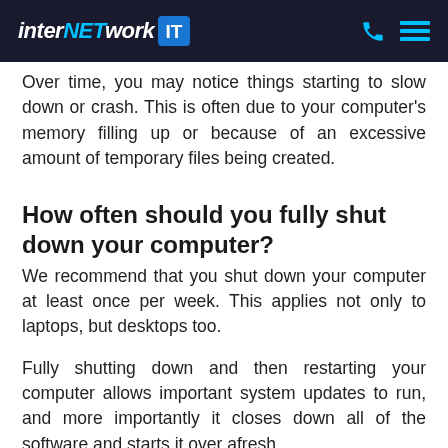interNETwork IT
Over time, you may notice things starting to slow down or crash. This is often due to your computer’s memory filling up or because of an excessive amount of temporary files being created.
How often should you fully shut down your computer?
We recommend that you shut down your computer at least once per week. This applies not only to laptops, but desktops too.
Fully shutting down and then restarting your computer allows important system updates to run, and more importantly it closes down all of the software and starts it over afresh.